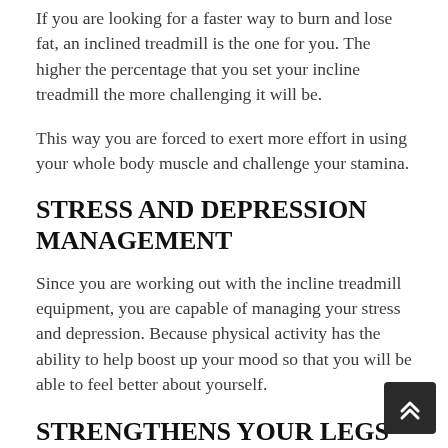If you are looking for a faster way to burn and lose fat, an inclined treadmill is the one for you. The higher the percentage that you set your incline treadmill the more challenging it will be.
This way you are forced to exert more effort in using your whole body muscle and challenge your stamina.
STRESS AND DEPRESSION MANAGEMENT
Since you are working out with the incline treadmill equipment, you are capable of managing your stress and depression. Because physical activity has the ability to help boost up your mood so that you will be able to feel better about yourself.
STRENGTHENS YOUR LEGS